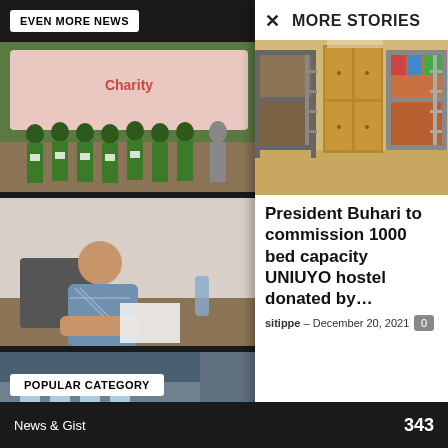EVEN MORE NEWS
[Figure (photo): Group of students in green uniforms holding certificates, posing with an adult]
[Figure (photo): Man in patterned shirt sitting at a desk, looking downward]
[Figure (photo): People standing outside a building near a vehicle]
MORE STORIES
[Figure (photo): Interior of a dormitory room with metal bunk beds and wooden wardrobes]
President Buhari to commission 1000 bed capacity UNIUYO hostel donated by…
sitippe - December 20, 2021
POPULAR CATEGORY
News & Gist   343